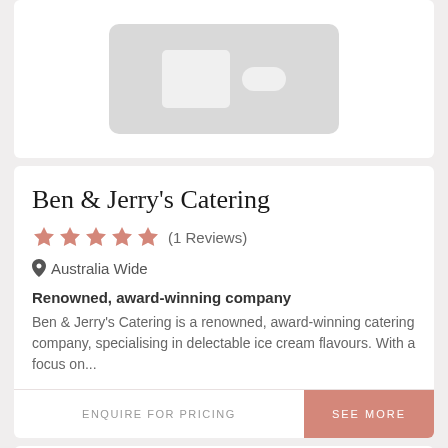[Figure (illustration): Placeholder image card with a grey rounded rectangle and two smaller white rectangles inside, representing a vendor logo placeholder]
Ben & Jerry's Catering
★★★★★ (1 Reviews)
Australia Wide
Renowned, award-winning company
Ben & Jerry's Catering is a renowned, award-winning catering company, specialising in delectable ice cream flavours. With a focus on...
ENQUIRE FOR PRICING
SEE MORE
[Figure (illustration): Bottom card with a heart (favourite) icon in the lower right corner]